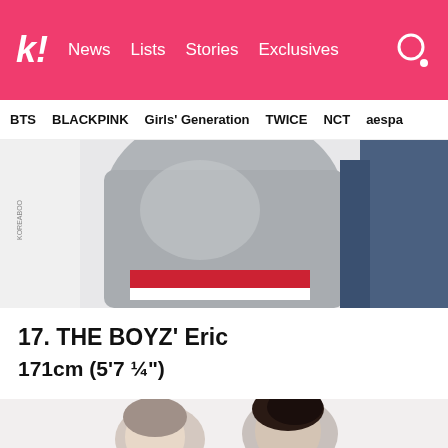k! News Lists Stories Exclusives
BTS BLACKPINK Girls' Generation TWICE NCT aespa
[Figure (photo): Photo of a person wearing a silver/grey jacket with a red and white outfit underneath, taken from behind at what appears to be an airport or public space.]
17. THE BOYZ' Eric
171cm (5'7 ¼")
[Figure (photo): Photo of two people, one wearing white, with dark hair, appearing to be taken indoors. Likely THE BOYZ member Eric with another person.]